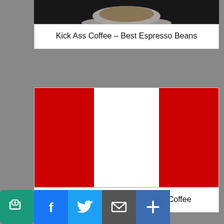[Figure (photo): Top of a coffee cup with espresso on a dark background, partially visible at top]
Kick Ass Coffee – Best Espresso Beans
[Figure (illustration): Peruvian flag — two vertical red stripes with white center stripe]
Peru Organic Coffee – Andes Coffee
[Figure (photo): Dark volcanic mountain with dramatic purple lightning in stormy sky]
Costa Rican La Amistad Coffee
[Figure (photo): Jamaican flag partially visible at bottom of page]
[Figure (other): Social share bar with icons: share, Facebook, Twitter, mail, plus]